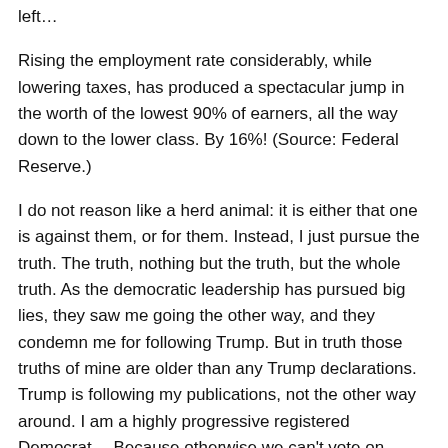left…
Rising the employment rate considerably, while lowering taxes, has produced a spectacular jump in the worth of the lowest 90% of earners, all the way down to the lower class. By 16%! (Source: Federal Reserve.)
I do not reason like a herd animal: it is either that one is against them, or for them. Instead, I just pursue the truth. The truth, nothing but the truth, but the whole truth. As the democratic leadership has pursued big lies, they saw me going the other way, and they condemn me for following Trump. But in truth those truths of mine are older than any Trump declarations. Trump is following my publications, not the other way around. I am a highly progressive registered Democrat… Because otherwise we can't vote on interesting stuff in California, hahaha, that does not